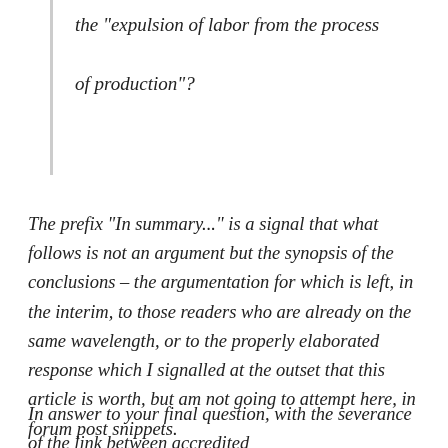the "expulsion of labor from the process of production"?
The prefix "In summary..." is a signal that what follows is not an argument but the synopsis of the conclusions – the argumentation for which is left, in the interim, to those readers who are already on the same wavelength, or to the properly elaborated response which I signalled at the outset that this article is worth, but am not going to attempt here, in forum post snippets.
In answer to your final question, with the severance of the link between accredited